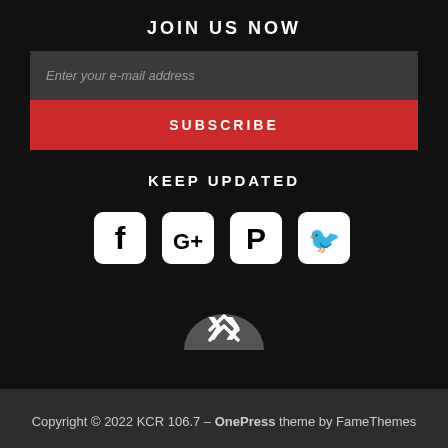JOIN US NOW
Enter your e-mail address
SUBSCRIBE
KEEP UPDATED
[Figure (illustration): Four social media icons: Facebook, Google+, Pinterest, Twitter]
[Figure (illustration): Back to top chevron button]
Copyright © 2022 KCR 106.7 – OnePress theme by FameThemes